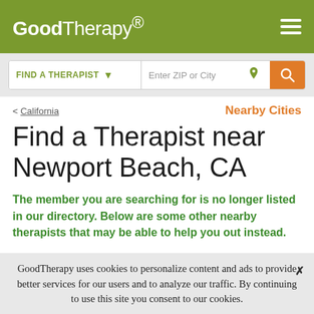GoodTherapy®
FIND A THERAPIST ▾   Enter ZIP or City
< California   Nearby Cities
Find a Therapist near Newport Beach, CA
The member you are searching for is no longer listed in our directory. Below are some other nearby therapists that may be able to help you out instead.
GoodTherapy uses cookies to personalize content and ads to provide better services for our users and to analyze our traffic. By continuing to use this site you consent to our cookies. ✕